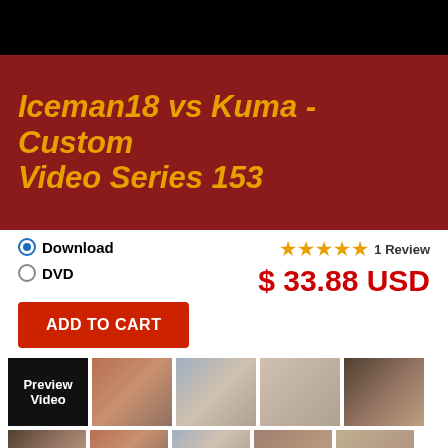[Figure (photo): Black banner/video player bar at top]
Iceman18 vs Kuma - Custom Video Series 153
Download (selected), DVD
★★★★★ 1 Review
$ 33.88 USD
ADD TO CART
[Figure (photo): Row of video thumbnails with Preview Video label and four photo stills]
[Figure (photo): Second row of partial video thumbnails]